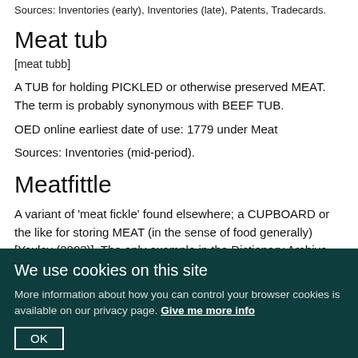Sources: Inventories (early), Inventories (late), Patents, Tradecards.
Meat tub
[meat tubb]
A TUB for holding PICKLED or otherwise preserved MEAT. The term is probably synonymous with BEEF TUB.
OED online earliest date of use: 1779 under Meat
Sources: Inventories (mid-period).
Meatfittle
A variant of 'meat fickle' found elsewhere; a CUPBOARD or the like for storing MEAT (in the sense of food generally) [Yaxley (2003)]. The only example in the Dictionary Archive fits with this definition, since it listed there together with a FIRKIN in the buttery [Inventories (1589)].
No relevant entry in the OED
Sources: Inventories (early).
References: Yaxley (2003).
We use cookies on this site
More information about how you can control your browser cookies is available on our privacy page. Give me more info